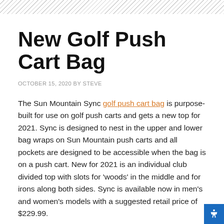New Golf Push Cart Bag
OCTOBER 15, 2020 BY STEVE
The Sun Mountain Sync golf push cart bag is purpose-built for use on golf push carts and gets a new top for 2021. Sync is designed to nest in the upper and lower bag wraps on Sun Mountain push carts and all pockets are designed to be accessible when the bag is on a push cart. New for 2021 is an individual club divided top with slots for 'woods' in the middle and for irons along both sides. Sync is available now in men's and women's models with a suggested retail price of $229.99.